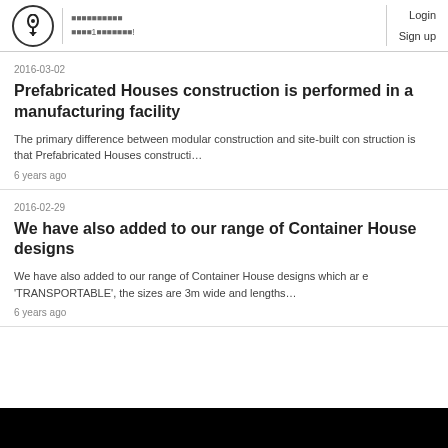Login Sign up
2016-03-02
Prefabricated Houses construction is performed in a manufacturing facility
The primary difference between modular construction and site-built construction is that Prefabricated Houses constructi…
6 years ago
2016-02-29
We have also added to our range of Container House designs
We have also added to our range of Container House designs which are 'TRANSPORTABLE', the sizes are 3m wide and lengths…
6 years ago